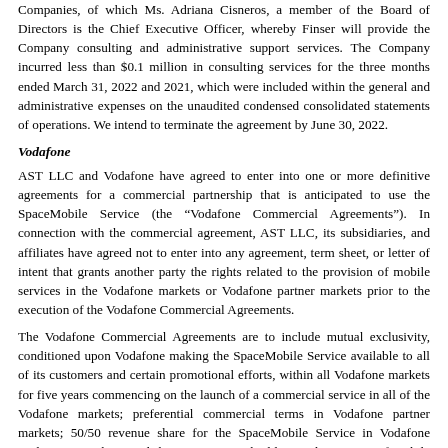Companies, of which Ms. Adriana Cisneros, a member of the Board of Directors is the Chief Executive Officer, whereby Finser will provide the Company consulting and administrative support services. The Company incurred less than $0.1 million in consulting services for the three months ended March 31, 2022 and 2021, which were included within the general and administrative expenses on the unaudited condensed consolidated statements of operations. We intend to terminate the agreement by June 30, 2022.
Vodafone
AST LLC and Vodafone have agreed to enter into one or more definitive agreements for a commercial partnership that is anticipated to use the SpaceMobile Service (the “Vodafone Commercial Agreements”). In connection with the commercial agreement, AST LLC, its subsidiaries, and affiliates have agreed not to enter into any agreement, term sheet, or letter of intent that grants another party the rights related to the provision of mobile services in the Vodafone markets or Vodafone partner markets prior to the execution of the Vodafone Commercial Agreements.
The Vodafone Commercial Agreements are to include mutual exclusivity, conditioned upon Vodafone making the SpaceMobile Service available to all of its customers and certain promotional efforts, within all Vodafone markets for five years commencing on the launch of a commercial service in all of the Vodafone markets; preferential commercial terms in Vodafone partner markets; 50/50 revenue share for the SpaceMobile Service in Vodafone exclusivity markets; and the procurement, building and operating of mobile network ground stations at a mutually agreed cost by Vodafone. No payments have been made to date between us and Vodafone pursuant to the anticipated Vodafone Commercial Agreements. Vodafone has the right to designate one individual to the Board of